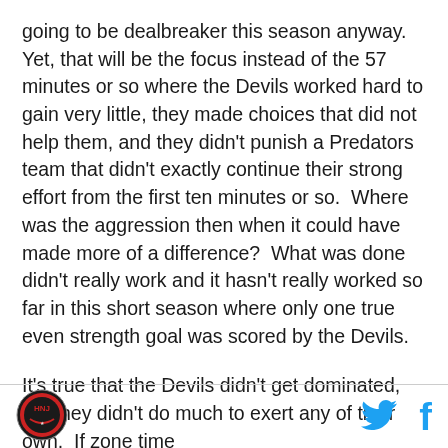going to be dealbreaker this season anyway.  Yet, that will be the focus instead of the 57 minutes or so where the Devils worked hard to gain very little, they made choices that did not help them, and they didn't punish a Predators team that didn't exactly continue their strong effort from the first ten minutes or so.  Where was the aggression then when it could have made more of a difference?  What was done didn't really work and it hasn't really worked so far in this short season where only one true even strength goal was scored by the Devils.
It's true that the Devils didn't get dominated, but they didn't do much to exert any of their own.  If zone time
[Figure (logo): HNJ circular logo with red and black design]
[Figure (logo): Twitter bird icon in cyan/blue]
[Figure (logo): Facebook f icon in cyan/blue]